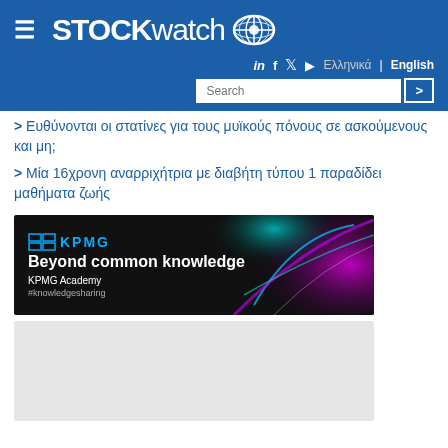STOCKwatch
> Ευθύνονται οι στατίνες για τους μυϊκούς πόνους σε ασκούμενους και μη;
> Μία 16χρονη αναρριχήτρια με διαβήτη τύπου 1 παραδίδει μαθήματα ζωής
[Figure (advertisement): KPMG Academy advertisement - Beyond common knowledge, #knowledgesharing]
[Figure (other): Gray placeholder/advertisement area]